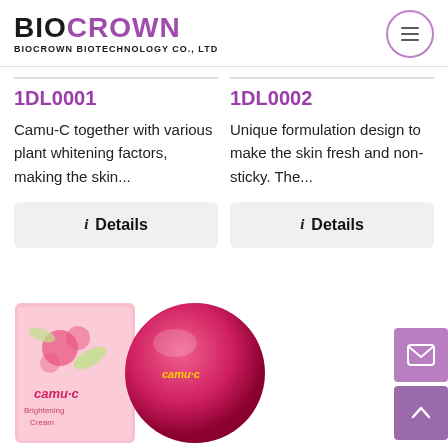BIOCROWN BIOTECHNOLOGY CO., LTD
1DL0001
1DL0002
Camu-C together with various plant whitening factors, making the skin...
Unique formulation design to make the skin fresh and non-sticky. The...
i Details
i Details
[Figure (photo): Camu-C brightening cream product: a pink spherical jar and a pink floral product box labeled 'camu-C Brightening Cream']